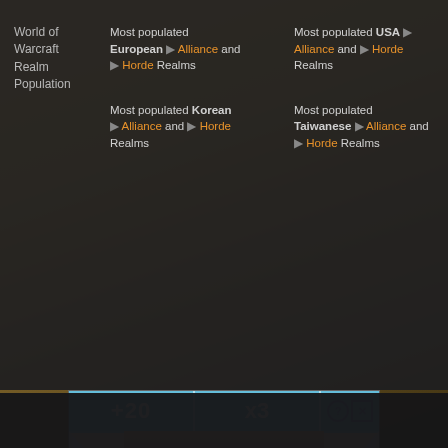|  | Column 1 | Column 2 |
| --- | --- | --- |
| World of Warcraft Realm Population | Most populated European ▶ Alliance and ▶ Horde Realms | Most populated USA ▶ Alliance and ▶ Horde Realms |
|  | Most populated Korean ▶ Alliance and ▶ Horde Realms | Most populated Taiwanese ▶ Alliance and ▶ Horde Realms |
[Figure (screenshot): Mobile game advertisement screenshot showing a bowling alley corridor with two blue characters. Top shows '+20' and 'x3' bonus indicators with a close button. Bottom text reads 'Hold and Move'. A badge with '3' appears above the characters.]